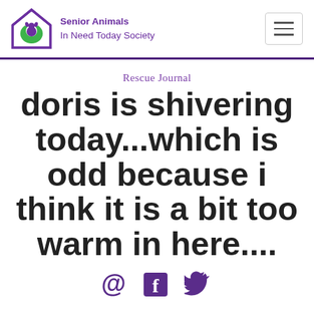Senior Animals In Need Today Society
Rescue Journal
doris is shivering today...which is odd because i think it is a bit too warm in here....
[Figure (other): Social media icons: @ symbol, Facebook logo, Twitter bird logo]